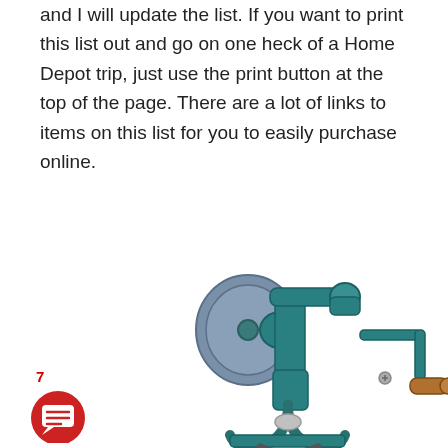and I will update the list. If you want to print this list out and go on one heck of a Home Depot trip, just use the print button at the top of the page. There are a lot of links to items on this list for you to easily purchase online.
[Figure (photo): A teal/green manual bench grinder with a blue grinding wheel on the left, a C-clamp mount at the bottom, and a wooden-handled crank on the right side.]